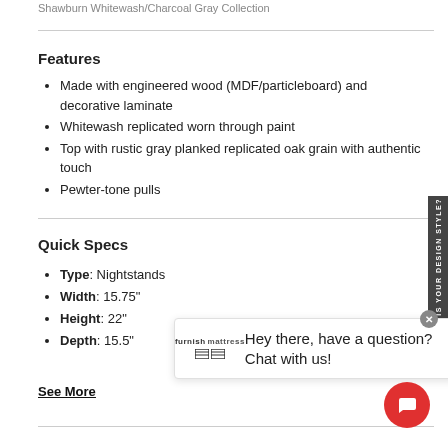Shawburn Whitewash/Charcoal Gray Collection
Features
Made with engineered wood (MDF/particleboard) and decorative laminate
Whitewash replicated worn through paint
Top with rustic gray planked replicated oak grain with authentic touch
Pewter-tone pulls
Quick Specs
Type: Nightstands
Width: 15.75"
Height: 22"
Depth: 15.5"
See More